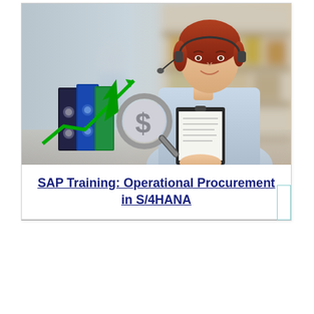[Figure (photo): A woman wearing a headset holding a clipboard in a warehouse/storage setting, with illustrated business icons overlaid: binders/folders, a green upward trending arrow chart, and a silver dollar sign with magnifying glass.]
SAP Training: Operational Procurement in S/4HANA